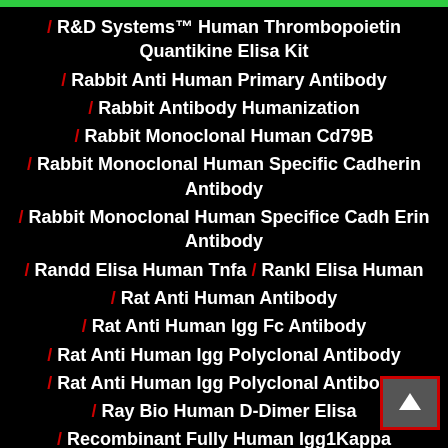/ R&D Systems™ Human Thrombopoietin Quantikine Elisa Kit
/ Rabbit Anti Human Primary Antibody
/ Rabbit Antibody Humanization
/ Rabbit Monoclonal Human Cd79B
/ Rabbit Monoclonal Human Specific Cadherin Antibody
/ Rabbit Monoclonal Human Specifice Cadh Erin Antibody
/ Randd Elisa Human Tnfa / Rankl Elisa Human
/ Rat Anti Human Antibody
/ Rat Anti Human Igg Fc Antibody
/ Rat Anti Human Igg Polyclonal Antibody
/ Rat Anti Human Igg Polyclonal Antibody
/ Ray Bio Human D-Dimer Elisa
/ Recombinant Fully Human Igg1Kappa Monoclonal Antibody
/ Result Of Hsv Igg Elisa Test